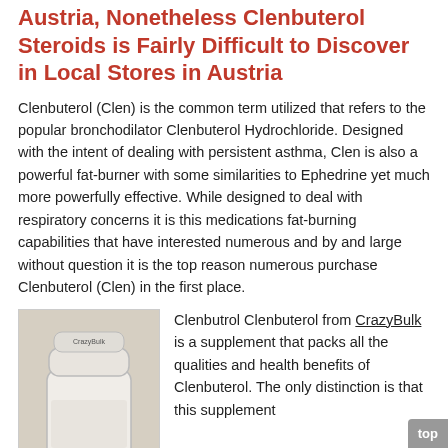Clenbuterol Steroids is Popular in Austria, Nonetheless Clenbuterol Steroids is Fairly Difficult to Discover in Local Stores in Austria
Clenbuterol (Clen) is the common term utilized that refers to the popular bronchodilator Clenbuterol Hydrochloride. Designed with the intent of dealing with persistent asthma, Clen is also a powerful fat-burner with some similarities to Ephedrine yet much more powerfully effective. While designed to deal with respiratory concerns it is this medications fat-burning capabilities that have interested numerous and by and large without question it is the top reason numerous purchase Clenbuterol (Clen) in the first place.
[Figure (photo): White supplement bottle with lid, likely Clenbutrol product from CrazyBulk]
Clenbutrol Clenbuterol from CrazyBulk is a supplement that packs all the qualities and health benefits of Clenbuterol. The only distinction is that this supplement